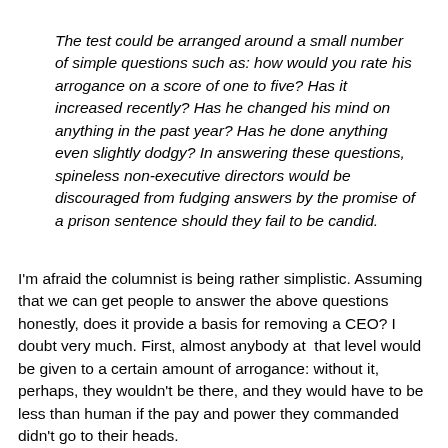The test could be arranged around a small number of simple questions such as: how would you rate his arrogance on a score of one to five? Has it increased recently? Has he changed his mind on anything in the past year? Has he done anything even slightly dodgy? In answering these questions, spineless non-executive directors would be discouraged from fudging answers by the promise of a prison sentence should they fail to be candid.
I'm afraid the columnist is being rather simplistic. Assuming that we can get people to answer the above questions honestly, does it provide a basis for removing a CEO? I doubt very much. First, almost anybody at  that level would be given to a certain amount of arrogance: without it, perhaps, they wouldn't be there, and they would have to be less than human if the pay and power they commanded didn't go to their heads.